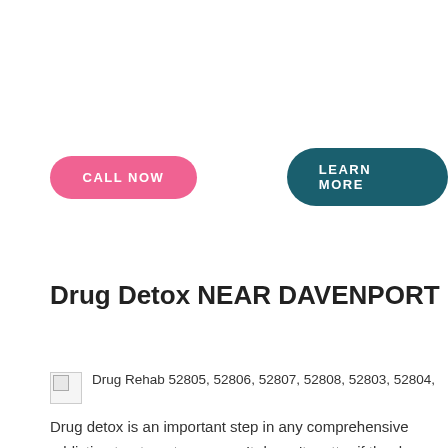[Figure (other): Pink 'CALL NOW' button and teal 'LEARN MORE' button]
Drug Detox NEAR DAVENPORT
[Figure (photo): Broken image placeholder with caption: Drug Rehab 52805, 52806, 52807, 52808, 52803, 52804,]
Drug Rehab 52805, 52806, 52807, 52808, 52803, 52804,
Drug detox is an important step in any comprehensive addiction treatment program. It doesn’t matter if the drug of choice is alcohol, prescription painkillers, heroin, or cocaine. The substance must be taken out of the system so that the patient won’t continually spiral. The type of detox that will be most